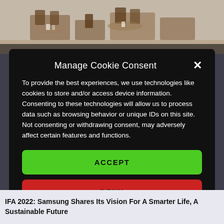[Figure (photo): Outdoor terrace or deck scene with wooden furniture, chairs, and tables in a restaurant or hotel setting]
Manage Cookie Consent
To provide the best experiences, we use technologies like cookies to store and/or access device information. Consenting to these technologies will allow us to process data such as browsing behavior or unique IDs on this site. Not consenting or withdrawing consent, may adversely affect certain features and functions.
ACCEPT
DENY
VIEW PREFERENCES
IFA 2022: Samsung Shares Its Vision For A Smarter Life, A Sustainable Future